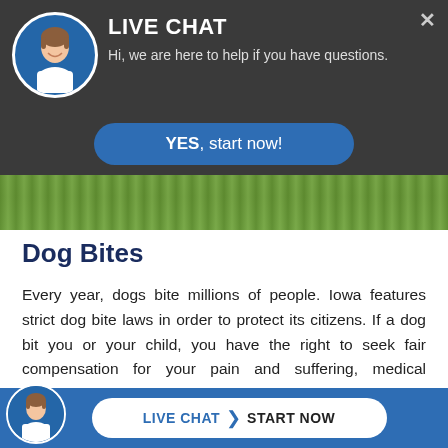[Figure (screenshot): Live chat widget overlay with avatar of a woman, title 'LIVE CHAT', subtitle 'Hi, we are here to help if you have questions.', a blue 'YES, start now!' button, and a close X button]
[Figure (photo): Grass/outdoor background strip image]
Dog Bites
Every year, dogs bite millions of people. Iowa features strict dog bite laws in order to protect its citizens. If a dog bit you or your child, you have the right to seek fair compensation for your pain and suffering, medical expenses, and lost work wages. Contact Mr. Rouse and discuss your claim. He can provide you with a free initial consultation and prelimi...advice...helping you decide whether or not
[Figure (screenshot): Bottom live chat bar with avatar, 'LIVE CHAT' and 'START NOW' button]